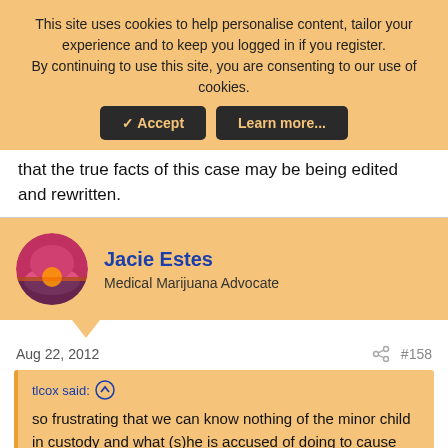This site uses cookies to help personalise content, tailor your experience and to keep you logged in if you register. By continuing to use this site, you are consenting to our use of cookies.
✓ Accept | Learn more...
that the true facts of this case may be being edited and rewritten.
Jacie Estes
Medical Marijuana Advocate
Aug 22, 2012
#158
tlcox said: ↑
so frustrating that we can know nothing of the minor child in custody and what (s)he is accused of doing to cause RieLee's death.